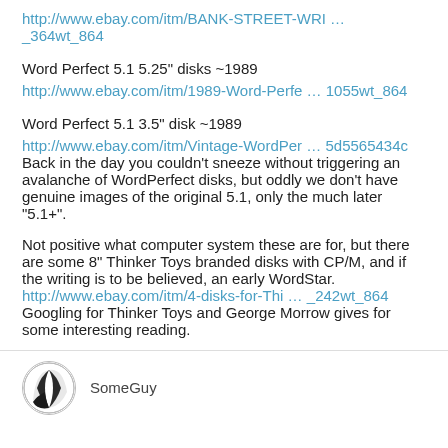http://www.ebay.com/itm/BANK-STREET-WRI … _364wt_864
Word Perfect 5.1 5.25" disks ~1989
http://www.ebay.com/itm/1989-Word-Perfe … 1055wt_864
Word Perfect 5.1 3.5" disk ~1989
http://www.ebay.com/itm/Vintage-WordPer … 5d5565434c
Back in the day you couldn't sneeze without triggering an avalanche of WordPerfect disks, but oddly we don't have genuine images of the original 5.1, only the much later "5.1+".
Not positive what computer system these are for, but there are some 8" Thinker Toys branded disks with CP/M, and if the writing is to be believed, an early WordStar.
http://www.ebay.com/itm/4-disks-for-Thi … _242wt_864
Googling for Thinker Toys and George Morrow gives for some interesting reading.
SomeGuy